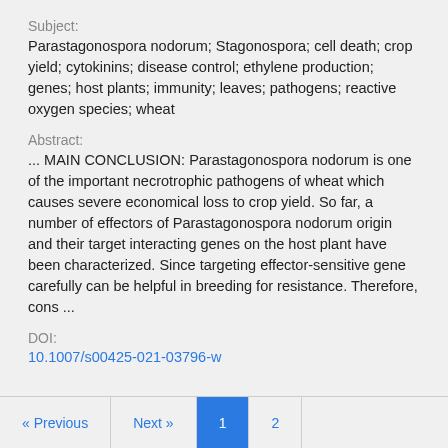Subject:
Parastagonospora nodorum; Stagonospora; cell death; crop yield; cytokinins; disease control; ethylene production; genes; host plants; immunity; leaves; pathogens; reactive oxygen species; wheat
Abstract:
... MAIN CONCLUSION: Parastagonospora nodorum is one of the important necrotrophic pathogens of wheat which causes severe economical loss to crop yield. So far, a number of effectors of Parastagonospora nodorum origin and their target interacting genes on the host plant have been characterized. Since targeting effector-sensitive gene carefully can be helpful in breeding for resistance. Therefore, cons ...
DOI:
10.1007/s00425-021-03796-w
« Previous  Next »  1  2